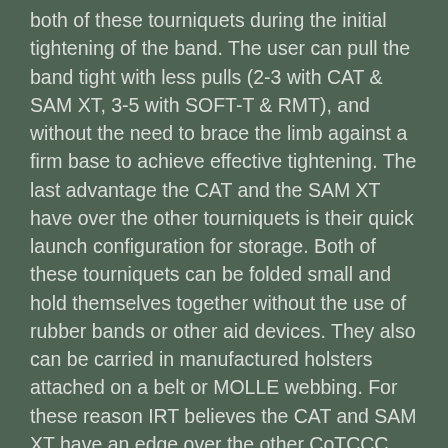both of these tourniquets during the initial tightening of the band. The user can pull the band tight with less pulls (2-3 with CAT & SAM XT, 3-5 with SOFT-T & RMT), and without the need to brace the limb against a firm base to achieve effective tightening. The last advantage the CAT and the SAM XT have over the other tourniquets is their quick launch configuration for storage. Both of these tourniquets can be folded small and hold themselves together without the use of rubber bands or other aid devices. They also can be carried in manufactured holsters attached on a belt or MOLLE webbing. For these reason IRT believes the CAT and SAM XT have an edge over the other CoTCCC approved extremity tourniquets.
For clarity, it should be stated that above all device features, TRAINING WITH YOUR EQUIPMENT is what will make you the most effective life-saver in a traumatic injury event. A person who regularly trains with a piece of